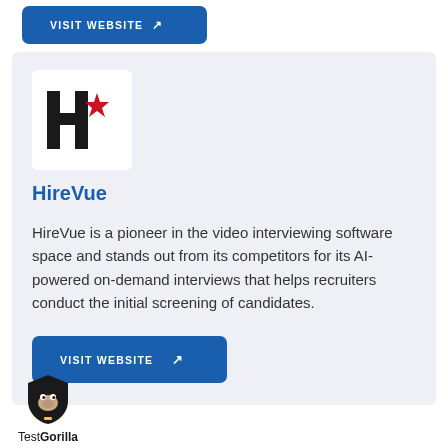[Figure (other): Blue 'VISIT WEBSITE' button with external link icon, partially visible at top of page]
[Figure (logo): HireVue logo: stylized H with a red star, black lettering on white background]
HireVue
HireVue is a pioneer in the video interviewing software space and stands out from its competitors for its AI-powered on-demand interviews that helps recruiters conduct the initial screening of candidates.
[Figure (other): Blue 'VISIT WEBSITE' button with external link icon]
[Figure (logo): TestGorilla logo: gorilla face icon with text 'TestGorilla' below]